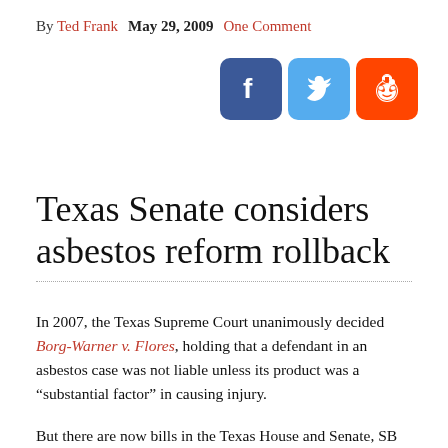By Ted Frank  May 29, 2009  One Comment
[Figure (infographic): Social media icons: Facebook (blue), Twitter (light blue), Reddit (orange)]
Texas Senate considers asbestos reform rollback
In 2007, the Texas Supreme Court unanimously decided Borg-Warner v. Flores, holding that a defendant in an asbestos case was not liable unless its product was a “substantial factor” in causing injury.
But there are now bills in the Texas House and Senate, SB 1123 (recently reported out of Senate committee) and HB 1811, that seek to undo this by defining “substantial factor” to merely